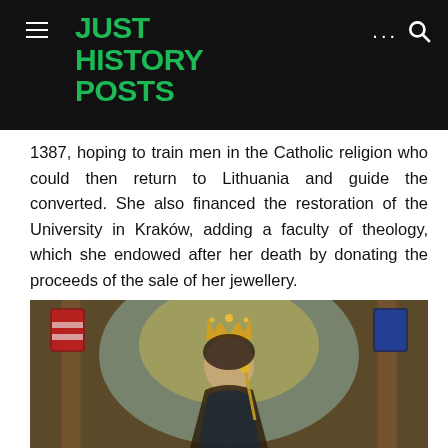JUST HISTORY POSTS
1387, hoping to train men in the Catholic religion who could then return to Lithuania and guide the converted. She also financed the restoration of the University in Kraków, adding a faculty of theology, which she endowed after her death by donating the proceeds of the sale of her jewellery.
[Figure (photo): A painting of a queen or royal figure wearing a crown, holding a scepter, with coats of arms visible on columns in the background, painted in a classical Renaissance style with golden and blue tones.]